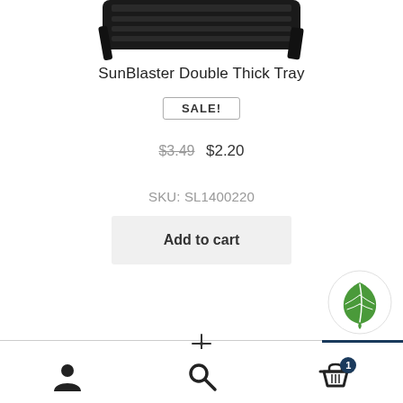[Figure (photo): Partial view of a black SunBlaster Double Thick Tray product, cropped at top of page]
SunBlaster Double Thick Tray
SALE!
$3.49  $2.20
SKU: SL1400220
Add to cart
[Figure (logo): Green leaf logo in a white circle]
Bottom navigation bar with user icon, search icon, and cart icon with badge showing 1